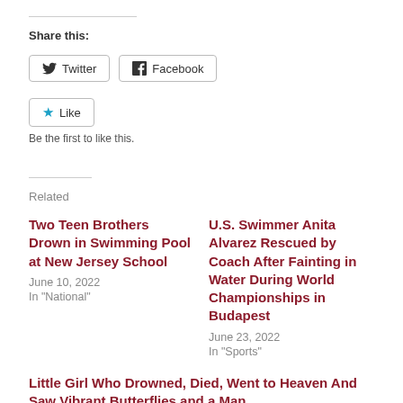Share this:
Twitter   Facebook
Like   Be the first to like this.
Related
Two Teen Brothers Drown in Swimming Pool at New Jersey School
June 10, 2022
In "National"
U.S. Swimmer Anita Alvarez Rescued by Coach After Fainting in Water During World Championships in Budapest
June 23, 2022
In "Sports"
Little Girl Who Drowned, Died, Went to Heaven And Saw Vibrant Butterflies and a Man